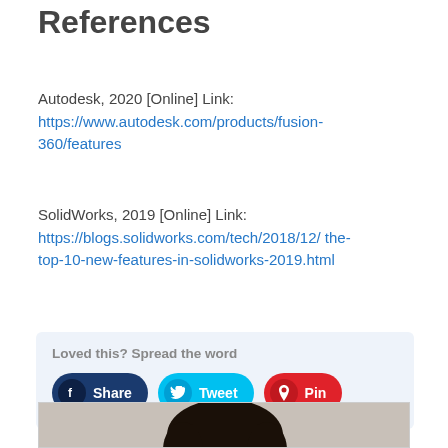References
Autodesk, 2020 [Online] Link: https://www.autodesk.com/products/fusion-360/features
SolidWorks, 2019 [Online] Link: https://blogs.solidworks.com/tech/2018/12/ the-top-10-new-features-in-solidworks-2019.html
[Figure (infographic): Social sharing box with 'Loved this? Spread the word' label and three buttons: Share (dark blue), Tweet (cyan), Pin (red)]
[Figure (photo): Partial photo showing top of a person's head, dark hair, at the bottom of the page inside a bordered box]